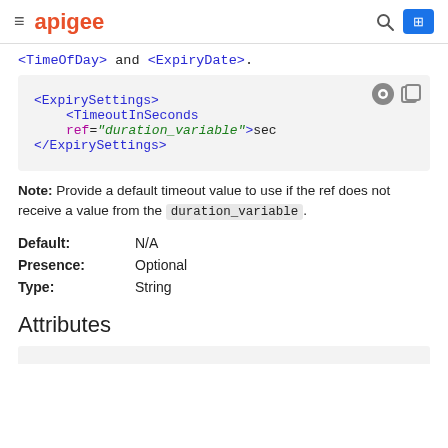apigee
<TimeOfDay> and <ExpiryDate>.
[Figure (screenshot): Code block showing XML snippet: <ExpirySettings><TimeoutInSeconds ref="duration_variable">sec</TimeoutInSeconds></ExpirySettings>]
Note: Provide a default timeout value to use if the ref does not receive a value from the duration_variable.
| Default: | N/A |
| Presence: | Optional |
| Type: | String |
Attributes